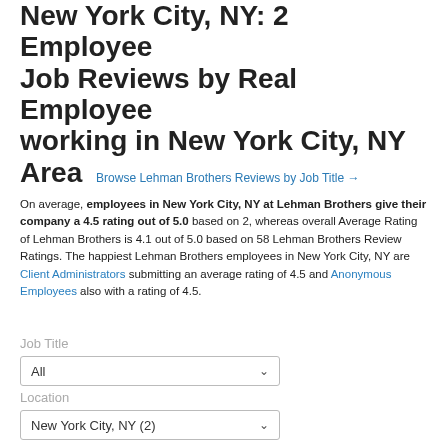New York City, NY: 2 Employee Job Reviews by Real Employee working in New York City, NY Area  Browse Lehman Brothers Reviews by Job Title →
On average, employees in New York City, NY at Lehman Brothers give their company a 4.5 rating out of 5.0 based on 2, whereas overall Average Rating of Lehman Brothers is 4.1 out of 5.0 based on 58 Lehman Brothers Review Ratings. The happiest Lehman Brothers employees in New York City, NY are Client Administrators submitting an average rating of 4.5 and Anonymous Employees also with a rating of 4.5.
Job Title
All
Location
New York City, NY (2)